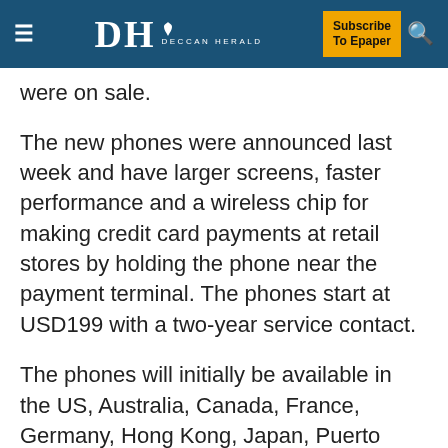Deccan Herald — Subscribe To Epaper
were on sale.
The new phones were announced last week and have larger screens, faster performance and a wireless chip for making credit card payments at retail stores by holding the phone near the payment terminal. The phones start at USD199 with a two-year service contact.
The phones will initially be available in the US, Australia, Canada, France, Germany, Hong Kong, Japan, Puerto Rico, Singapore and the UK Availability will expand to more than 20 additional countries a week later.
A free update to Apple's iOS software for phones will be available to existing users on Wednesday. The new phones